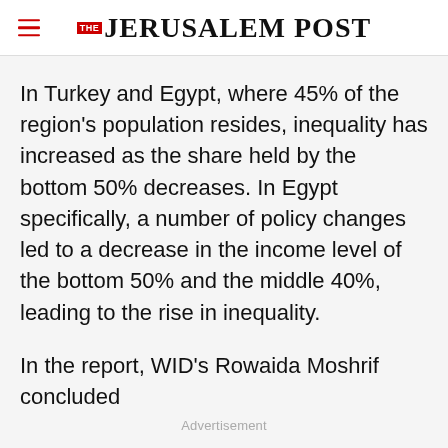THE JERUSALEM POST
In Turkey and Egypt, where 45% of the region's population resides, inequality has increased as the share held by the bottom 50% decreases. In Egypt specifically, a number of policy changes led to a decrease in the income level of the bottom 50% and the middle 40%, leading to the rise in inequality.
In the report, WID's Rowaida Moshrif concluded
Advertisement